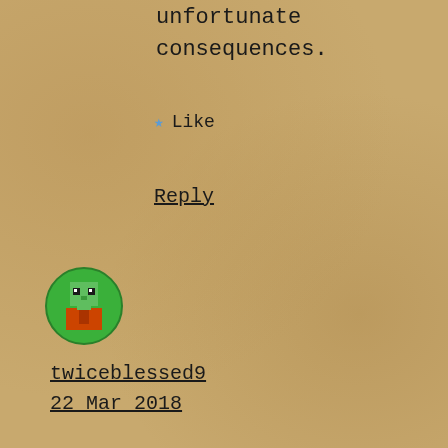unfortunate consequences.
★ Like
Reply
[Figure (illustration): Pixelated green avatar icon in a circle]
twiceblessed9
22 Mar 2018
Eric, I think the reason you might be getting France is that Louisiana was a colony of France It was named after